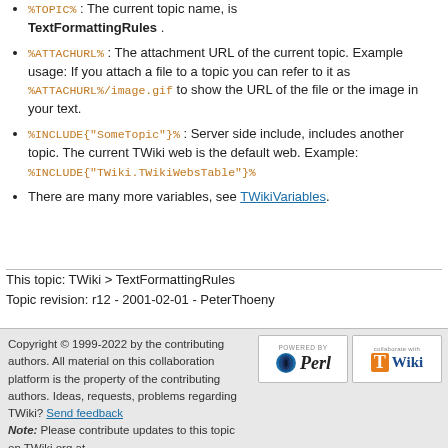%TOPIC% : The current topic name, is TextFormattingRules .
%ATTACHURL% : The attachment URL of the current topic. Example usage: If you attach a file to a topic you can refer to it as %ATTACHURL%/image.gif to show the URL of the file or the image in your text.
%INCLUDE{"SomeTopic"}% : Server side include, includes another topic. The current TWiki web is the default web. Example: %INCLUDE{"TWiki.TWikiWebsTable"}%
There are many more variables, see TWikiVariables.
This topic: TWiki > TextFormattingRules
Topic revision: r12 - 2001-02-01 - PeterThoeny
Copyright © 1999-2022 by the contributing authors. All material on this collaboration platform is the property of the contributing authors. Ideas, requests, problems regarding TWiki? Send feedback Note: Please contribute updates to this topic on TWiki.org at TWiki:TWiki.TextFormattingRules.